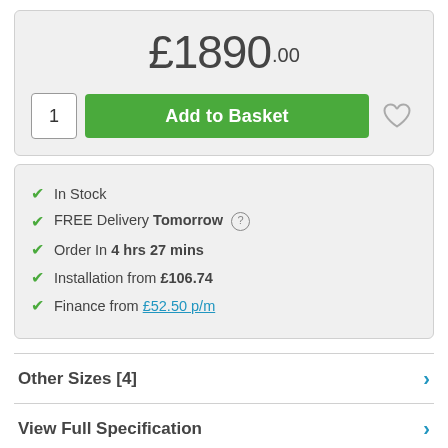£1890.00
[Figure (screenshot): Add to Basket button with quantity input box (showing 1) and heart/wishlist icon]
In Stock
FREE Delivery Tomorrow
Order In 4 hrs 27 mins
Installation from £106.74
Finance from £52.50 p/m
Other Sizes [4]
View Full Specification